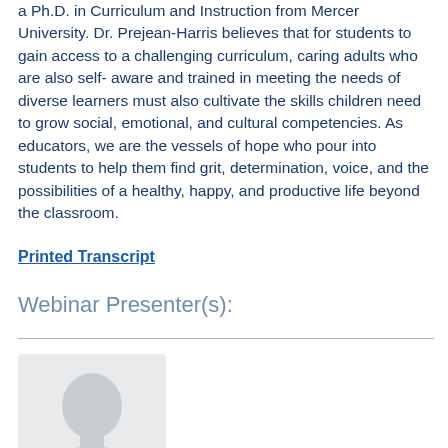a Ph.D. in Curriculum and Instruction from Mercer University. Dr. Prejean-Harris believes that for students to gain access to a challenging curriculum, caring adults who are also self-aware and trained in meeting the needs of diverse learners must also cultivate the skills children need to grow social, emotional, and cultural competencies. As educators, we are the vessels of hope who pour into students to help them find grit, determination, voice, and the possibilities of a healthy, happy, and productive life beyond the classroom.
Printed Transcript
Webinar Presenter(s):
[Figure (photo): Placeholder silhouette profile image of a person, light gray background]